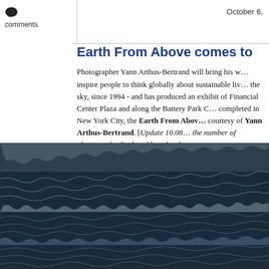October 6,
comments
Earth From Above comes to
Photographer Yann Arthus-Bertrand will bring his w... inspire people to think globally about sustainable liv... the sky, since 1994 - and has produced an exhibit of Financial Center Plaza and along the Battery Park C... completed in New York City, the Earth From Abov... courtesy of Yann Arthus-Bertrand. [Update 10.08 the number of photographs displayed here has been
[Figure (photo): Aerial photograph showing a dark water surface with intricate white wave or ice patterns creating a textured, abstract appearance.]